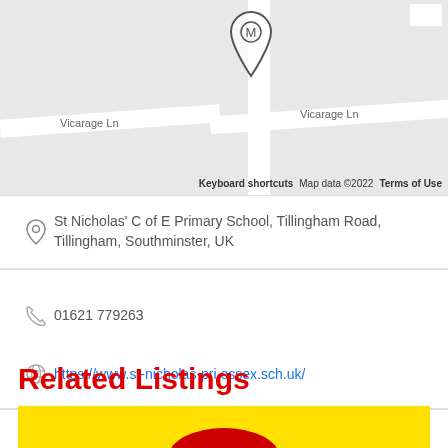[Figure (map): Google Maps showing location of St Nicholas' C of E Primary School on Vicarage Ln, Tillingham. Shows map pin icon, road labeled 'Vicarage Ln' on both sides of a junction, grey map background with white road overlays. Map attribution: Keyboard shortcuts, Map data ©2022, Terms of Use.]
St Nicholas' C of E Primary School, Tillingham Road, Tillingham, Southminster, UK
01621 779263
https://www.st-nicholas-pri.essex.sch.uk/
Related Listings
[Figure (photo): Partially visible image at the bottom of the page showing a yellow background with a red car or vehicle shape visible at the bottom center, two yellow triangular shapes on left and right.]